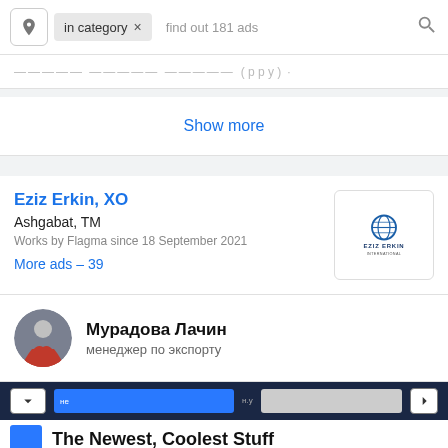[Figure (screenshot): Search bar with location pin icon, 'in category' filter tag with X, placeholder text 'find out 181 ads', and search icon]
(partial row content, truncated)
Show more
Eziz Erkin, XO
Ashgabat, TM
Works by Flagma since 18 September 2021
More ads – 39
[Figure (logo): Eziz Erkin company logo with globe icon and company name]
Мурадова Лачин
менеджер по экспорту
The Newest, Coolest Stuff